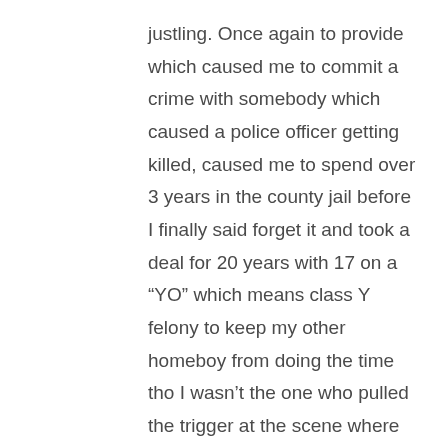justling. Once again to provide which caused me to commit a crime with somebody which caused a police officer getting killed, caused me to spend over 3 years in the county jail before I finally said forget it and took a deal for 20 years with 17 on a “YO” which means class Y felony to keep my other homeboy from doing the time tho I wasn’t the one who pulled the trigger at the scene where the officer was killed.

I did what I did to keep others from